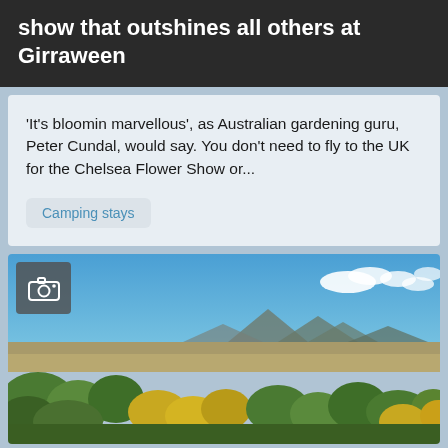show that outshines all others at Girraween
'It's bloomin marvellous', as Australian gardening guru, Peter Cundal, would say. You don't need to fly to the UK for the Chelsea Flower Show or...
Camping stays
[Figure (photo): Aerial panoramic landscape photo showing Australian bushland with trees in green and yellow, open scrubland, mountains in the background, and a blue sky with white clouds.]